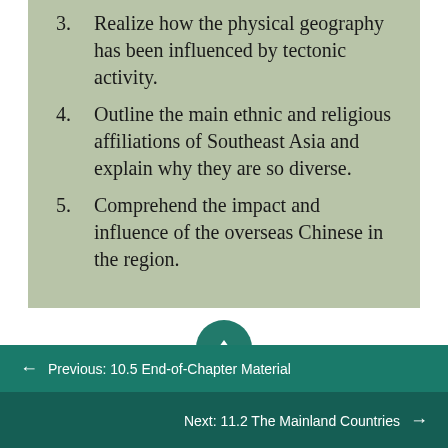3. Realize how the physical geography has been influenced by tectonic activity.
4. Outline the main ethnic and religious affiliations of Southeast Asia and explain why they are so diverse.
5. Comprehend the impact and influence of the overseas Chinese in the region.
← Previous: 10.5 End-of-Chapter Material
Next: 11.2 The Mainland Countries →